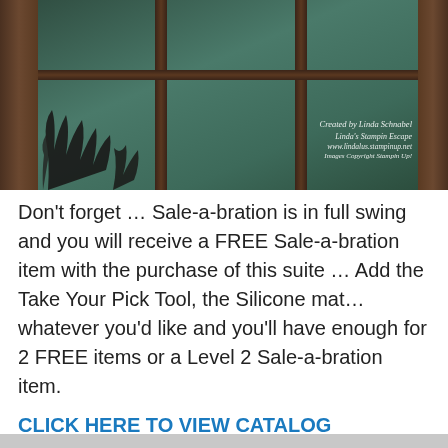[Figure (photo): Photo of a decorative craft project resembling an underwater scene viewed through a wooden-framed window with multiple panes. Dark coral/seaweed silhouettes are visible against teal/green water-like backgrounds. Watermark text reads: Created by Linda Schnabel, Linda's Stampin Escape, www.lindalus.stampinup.net, Images Copyright Stampin Up!]
Don't forget … Sale-a-bration is in full swing and you will receive a FREE Sale-a-bration item with the purchase of this suite … Add the Take Your Pick Tool, the Silicone mat… whatever you'd like and you'll have enough for 2 FREE items or a Level 2 Sale-a-bration item.
CLICK HERE TO VIEW CATALOG